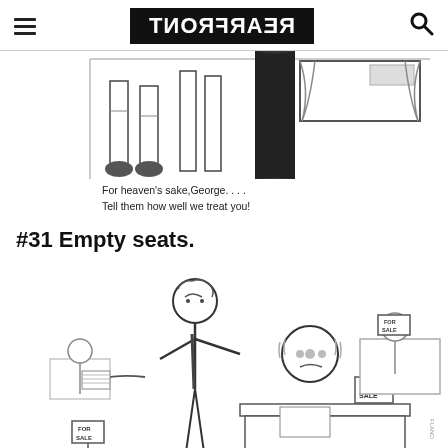REARFRONT (logo, mirrored text)
[Figure (illustration): Top portion of a cartoon/comic illustration showing legs of people standing, partially cropped at top of page]
For heaven's sake,George. . . .
Tell them how well we treat you!
#31 Empty seats.
[Figure (illustration): Cartoon illustration showing an office scene with multiple businessmen at desks, several desks have 'For Sale' signs on them, one man appears distressed while another man shakes him]